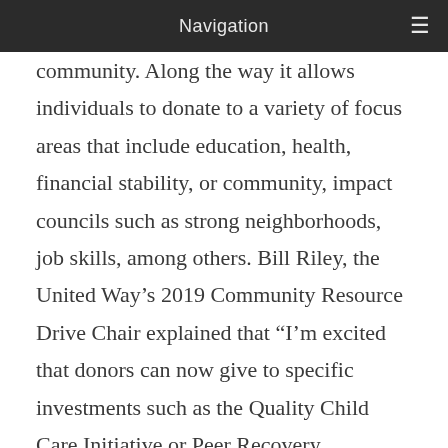Navigation
community. Along the way it allows individuals to donate to a variety of focus areas that include education, health, financial stability, or community, impact councils such as strong neighborhoods, job skills, among others. Bill Riley, the United Way's 2019 Community Resource Drive Chair explained that “I’m excited that donors can now give to specific investments such as the Quality Child Care Initiative or Peer Recovery Specialists. These programs are designed to make a big impact, and they were announced earlier this week. We have a bold goal of moving 10,000 families out of financial struggles and into stability. The Choose Your Impact website puts the power into the donor’s hands to direct their investment